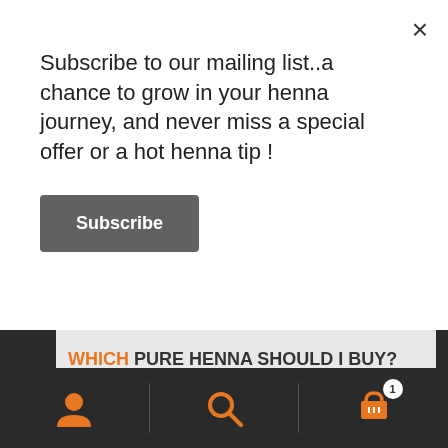Subscribe to our mailing list..a chance to grow in your henna journey, and never miss a special offer or a hot henna tip !
Subscribe
WHICH PURE HENNA SHOULD I BUY?
ℹ 10 % off when you sign up to the Newsletter ! Enter your e mail address in the sign up link towards the bottom of this page & remember to click the opt in link in the confirmation e mail (check junk mail).
Dismiss